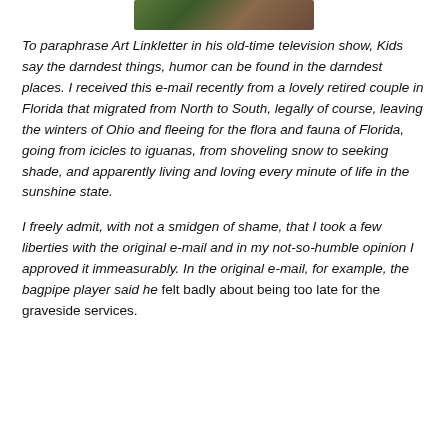[Figure (photo): Partial photo at top of page, appears to show foliage or plants with some color.]
To paraphrase Art Linkletter in his old-time television show, Kids say the darndest things, humor can be found in the darndest places. I received this e-mail recently from a lovely retired couple in Florida that migrated from North to South, legally of course, leaving the winters of Ohio and fleeing for the flora and fauna of Florida, going from icicles to iguanas, from shoveling snow to seeking shade, and apparently living and loving every minute of life in the sunshine state.
I freely admit, with not a smidgen of shame, that I took a few liberties with the original e-mail and in my not-so-humble opinion I approved it immeasurably. In the original e-mail, for example, the bagpipe player said he felt badly about being too late for the graveside services.